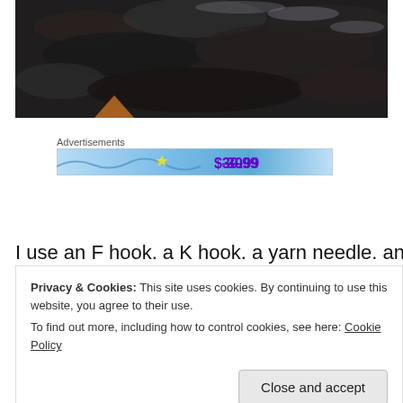[Figure (photo): Close-up photo of dark knitted or crocheted fabric, black and dark grey yarn texture, with a small triangular orange/brown element visible]
Advertisements
[Figure (other): Advertisement banner with blue sky background showing $30.99 price in purple text]
I use an F hook. a K hook. a yarn needle. and Red Heart
Privacy & Cookies: This site uses cookies. By continuing to use this website, you agree to their use.
To find out more, including how to control cookies, see here: Cookie Policy
Close and accept
size adult chick.